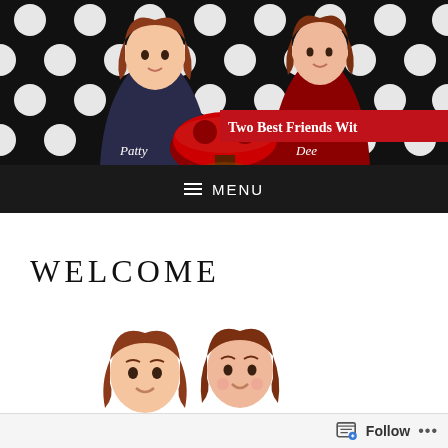[Figure (illustration): Website header banner showing two animated female cartoon characters (Patty in black dress on left, Dee in red dress on right) sitting at a round red and white table, on a black background with white polka dots. A red banner on the right reads 'Two Best Friends Wit'.]
≡  MENU
WELCOME
[Figure (illustration): Two cartoon avatar illustrations of women with brown hair, shown from the shoulders up, partially visible at the bottom of the content area.]
Follow  •••